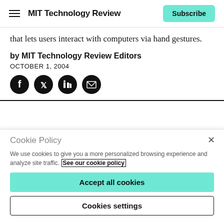MIT Technology Review | Subscribe
that lets users interact with computers via hand gestures.
by MIT Technology Review Editors
OCTOBER 1, 2004
[Figure (other): Social share icons: Facebook, Twitter, LinkedIn, Email]
Cookie Policy
We use cookies to give you a more personalized browsing experience and analyze site traffic. See our cookie policy
Accept all cookies
Cookies settings